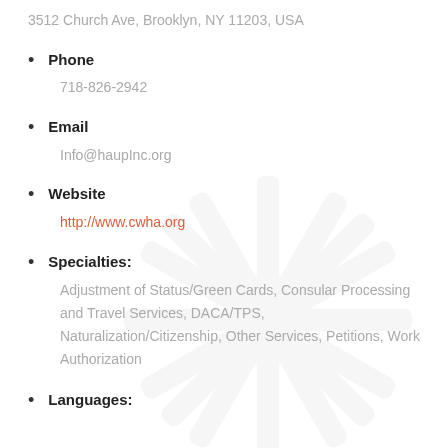3512 Church Ave, Brooklyn, NY 11203, USA
Phone
718-826-2942
Email
Info@haupInc.org
Website
http://www.cwha.org
Specialties:
Adjustment of Status/Green Cards, Consular Processing and Travel Services, DACA/TPS, Naturalization/Citizenship, Other Services, Petitions, Work Authorization
Languages:
English, Haitian Creole, Spanish, ...